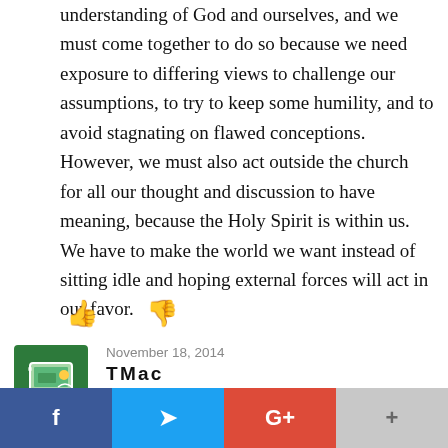understanding of God and ourselves, and we must come together to do so because we need exposure to differing views to challenge our assumptions, to try to keep some humility, and to avoid stagnating on flawed conceptions. However, we must also act outside the church for all our thought and discussion to have meaning, because the Holy Spirit is within us. We have to make the world we want instead of sitting idle and hoping external forces will act in our favor.
[Figure (other): Thumbs up and thumbs down icons for voting/rating]
November 18, 2014
[Figure (illustration): User avatar icon for TMac — green square with a computer/monitor illustration]
TMac
Excellent article. I only wish...
[Figure (infographic): Social share bar with Facebook, Twitter, Google+, and a plus button]